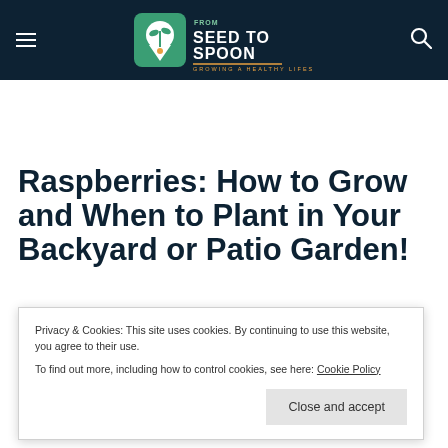From Seed to Spoon — Growing a Healthy Lifestyle
Raspberries: How to Grow and When to Plant in Your Backyard or Patio Garden!
Privacy & Cookies: This site uses cookies. By continuing to use this website, you agree to their use.
To find out more, including how to control cookies, see here: Cookie Policy
Raspberries come in various shades of red and gold. These